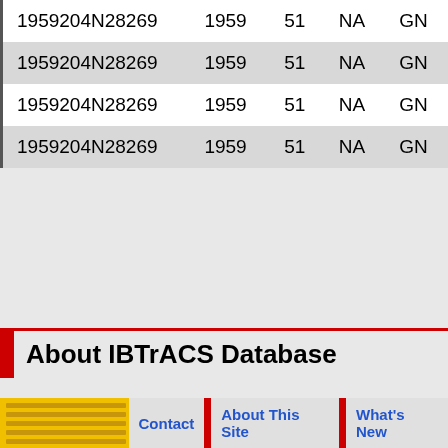| ID | Year | Num | Val | Type |
| --- | --- | --- | --- | --- |
| 1959204N28269 | 1959 | 51 | NA | GN |
| 1959204N28269 | 1959 | 51 | NA | GN |
| 1959204N28269 | 1959 | 51 | NA | GN |
| 1959204N28269 | 1959 | 51 | NA | GN |
About IBTrACS Database
This database is a web-friendly format of International Best Track Archive for Climate Stewardship (IBTrACS), a global best track data archive curated by NOAA dating back to 1842.
Updated: 2022-08-18
Contact | About This Site | What's New